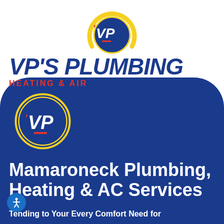[Figure (logo): VP's Plumbing Heating & Air logo — circular VP emblem at top with yellow arc, blue bold italic text VP'S PLUMBING, red subtitle HEATING & AIR]
[Figure (logo): VP's Plumbing circular logo emblem on blue background — yellow double ring circle with white VP letters and red apostrophe accent]
Mamaroneck Plumbing, Heating & AC Services
Tending to Your Every Comfort Need for